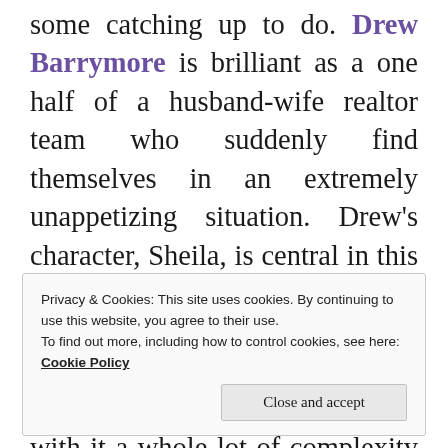some catching up to do. Drew Barrymore is brilliant as a one half of a husband-wife realtor team who suddenly find themselves in an extremely unappetizing situation. Drew's character, Sheila, is central in this black-horror-comedy set in American suburbia. She wakes one day to find herself 'undead'. This new facet of her 'life' brings with it a whole lot of complexity and new situations to deal with. The need to eat people being the biggest change.
Privacy & Cookies: This site uses cookies. By continuing to use this website, you agree to their use. To find out more, including how to control cookies, see here: Cookie Policy